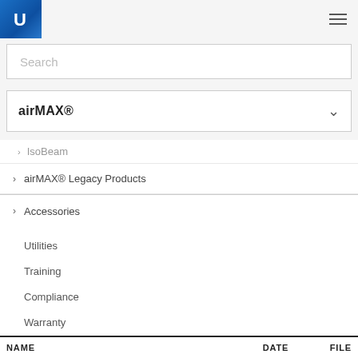Ubiquiti navigation header with logo and hamburger menu
Search
airMAX®
> IsoBeam
> airMAX® Legacy Products
> Accessories
Utilities
Training
Compliance
Warranty
| NAME | DATE | FILE |
| --- | --- | --- |